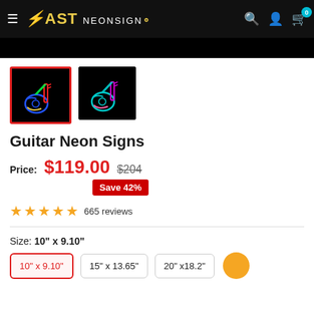FAST NEONSIGN — navigation bar with hamburger menu, search, account, and cart icons
[Figure (screenshot): Dark top image strip (partial product image, mostly black)]
[Figure (photo): Two product thumbnails: first selected (red border) showing a multicolor neon guitar on black background; second showing a teal/pink neon guitar on black background]
Guitar Neon Signs
Price: $119.00  $204  Save 42%
665 reviews (5 stars)
Size: 10" x 9.10"
Size options: 10" x 9.10"  |  15" x 13.65"  |  20" x 18.2"